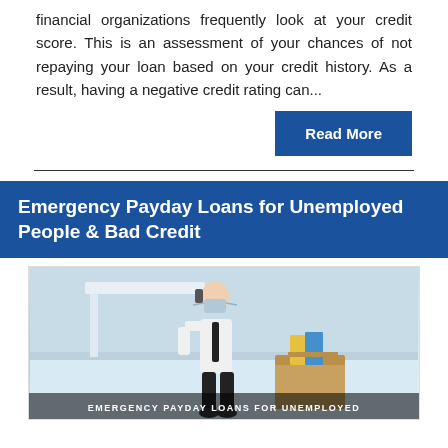financial organizations frequently look at your credit score. This is an assessment of your chances of not repaying your loan based on your credit history. As a result, having a negative credit rating can...
Read More
Emergency Payday Loans for Unemployed People & Bad Credit
[Figure (photo): A man wearing a face mask sitting on the floor against a wall, talking on the phone, with a cardboard box of office supplies beside him, suggesting he was laid off. Text overlay reads: EMERGENCY PAYDAY LOANS FOR UNEMPLOYED]